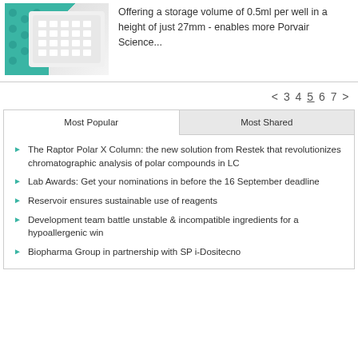[Figure (photo): Photo of a white microplate or well plate with teal/green honeycomb pattern in background]
Offering a storage volume of 0.5ml per well in a height of just 27mm - enables more Porvair Science...
< 3 4 5 6 7 >
Most Popular
Most Shared
The Raptor Polar X Column: the new solution from Restek that revolutionizes chromatographic analysis of polar compounds in LC
Lab Awards: Get your nominations in before the 16 September deadline
Reservoir ensures sustainable use of reagents
Development team battle unstable & incompatible ingredients for a hypoallergenic win
Biopharma Group in partnership with SP i-Dositecno